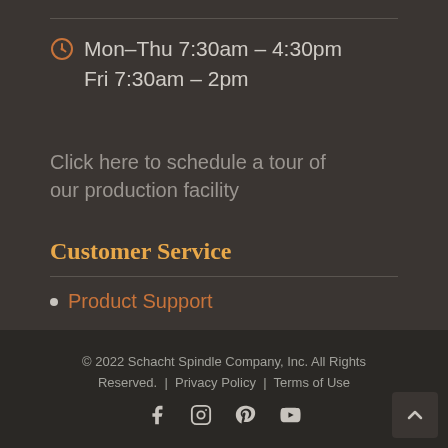Mon–Thu 7:30am – 4:30pm
Fri 7:30am – 2pm
Click here to schedule a tour of our production facility
Customer Service
Product Support
Product Registration
© 2022 Schacht Spindle Company, Inc. All Rights Reserved. | Privacy Policy | Terms of Use